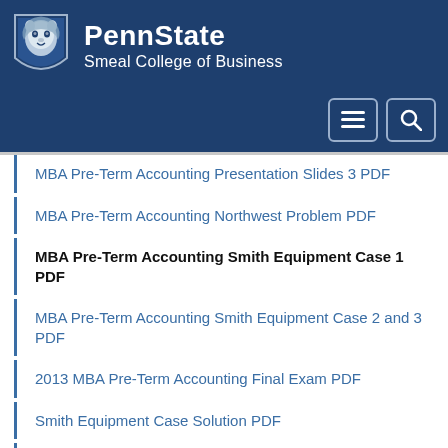PennState Smeal College of Business
MBA Pre-Term Accounting Presentation Slides 3 PDF
MBA Pre-Term Accounting Northwest Problem PDF
MBA Pre-Term Accounting Smith Equipment Case 1 PDF
MBA Pre-Term Accounting Smith Equipment Case 2 and 3 PDF
2013 MBA Pre-Term Accounting Final Exam PDF
Smith Equipment Case Solution PDF
2014 Student Services Monday Message 5/5/14 PDF
Personal Career Strategy DOC